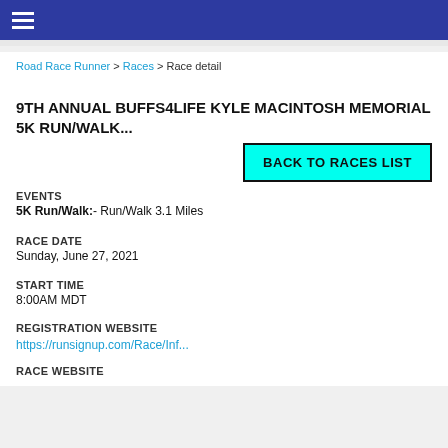Road Race Runner > Races > Race detail
9TH ANNUAL BUFFS4LIFE KYLE MACINTOSH MEMORIAL 5K RUN/WALK...
EVENTS
5K Run/Walk:- Run/Walk 3.1 Miles
RACE DATE
Sunday, June 27, 2021
Start Time
8:00AM MDT
REGISTRATION WEBSITE
https://runsignup.com/Race/Inf...
RACE WEBSITE